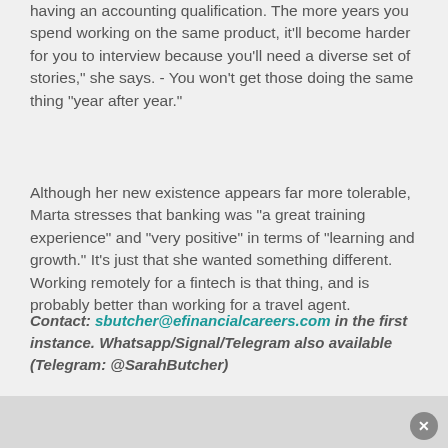having an accounting qualification. The more years you spend working on the same product, it'll become harder for you to interview because you'll need a diverse set of stories," she says. - You won't get those doing the same thing "year after year."
Although her new existence appears far more tolerable, Marta stresses that banking was "a great training experience" and "very positive" in terms of "learning and growth." It's just that she wanted something different. Working remotely for a fintech is that thing, and is probably better than working for a travel agent.
Contact: sbutcher@efinancialcareers.com in the first instance. Whatsapp/Signal/Telegram also available (Telegram: @SarahButcher)
Bear with us if you leave a comment at the bottom of this article: all our comments are moderated by human beings. Sometimes these humans might be asleep, or away from